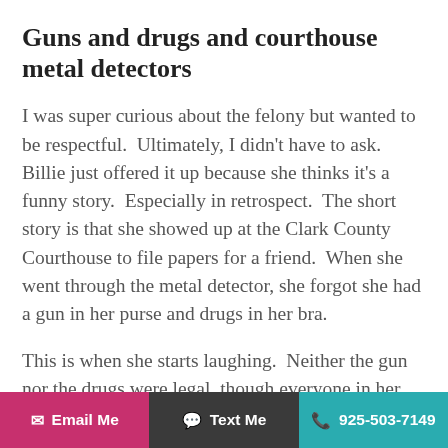Guns and drugs and courthouse metal detectors
I was super curious about the felony but wanted to be respectful. Ultimately, I didn't have to ask. Billie just offered it up because she thinks it's a funny story. Especially in retrospect. The short story is that she showed up at the Clark County Courthouse to file papers for a friend. When she went through the metal detector, she forgot she had a gun in her purse and drugs in her bra.
This is when she starts laughing. Neither the gun nor the drugs were legal, though everyone in her circle carried a gun in their purse, a matter of survival. She had never used it, only pulled it out when she was physically threatened. As the alarm sounded from the metal detector, Billie's instinct was
✉ Email Me   💬 Text Me   📞 925-503-7149